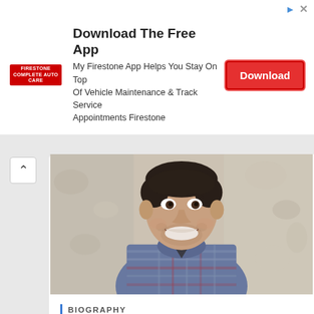[Figure (screenshot): Advertisement banner for Firestone app with logo, text and Download button]
[Figure (photo): Smiling young man with dark hair wearing a blue/grey plaid flannel shirt, standing against a textured stucco wall]
BIOGRAPHY
Paige Spiranac's Husband Steven